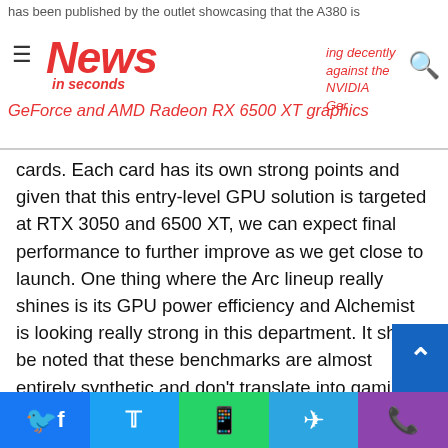has been published by the outlet showcasing that the A380 is performing decently against the NVIDIA GeForce and AMD Radeon RX 6500 XT graphics
cards. Each card has its own strong points and given that this entry-level GPU solution is targeted at RTX 3050 and 6500 XT, we can expect final performance to further improve as we get close to launch. One thing where the Arc lineup really shines is its GPU power efficiency and Alchemist is looking really strong in this department. It should be noted that these benchmarks are almost entirely synthetic and don't translate into gaming performance so it is something that you should wait for rather than using these numbers to theorize the final game performance of Intel's upcoming Arc Alchemist graphics cards.
Intel Arc A380 vs NVIDIA RTX 3050 & AMD RX 6500 XT